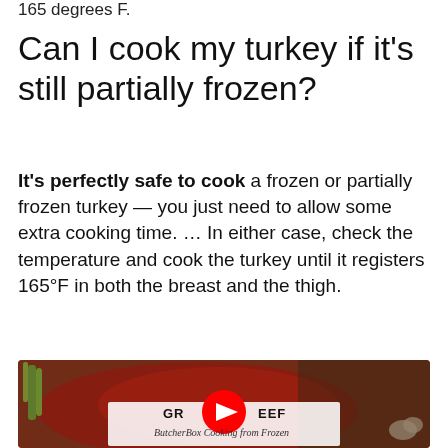165 degrees F.
Can I cook my turkey if it's still partially frozen?
It's perfectly safe to cook a frozen or partially frozen turkey — you just need to allow some extra cooking time. ... In either case, check the temperature and cook the turkey until it registers 165°F in both the breast and the thigh.
[Figure (photo): YouTube video thumbnail showing raw ground beef on a cutting board with green onions and garlic. A YouTube play button overlay is centered on the image. Text reads 'GR... EEF' and 'ButcherBox Cooking from Frozen'.]